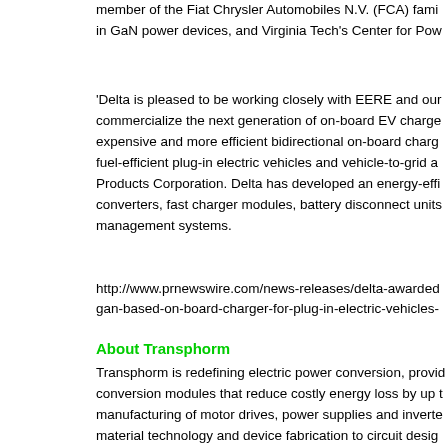member of the Fiat Chrysler Automobiles N.V. (FCA) family, in GaN power devices, and Virginia Tech's Center for Power...
'Delta is pleased to be working closely with EERE and our partners to commercialize the next generation of on-board EV chargers...less expensive and more efficient bidirectional on-board chargers for fuel-efficient plug-in electric vehicles and vehicle-to-grid applications...Products Corporation. Delta has developed an energy-efficient...converters, fast charger modules, battery disconnect units...management systems.
http://www.prnewswire.com/news-releases/delta-awarded...gan-based-on-board-charger-for-plug-in-electric-vehicles-...
About Transphorm
Transphorm is redefining electric power conversion, providing conversion modules that reduce costly energy loss by up to manufacturing of motor drives, power supplies and inverter...material technology and device fabrication to circuit design...delivers its power conversion devices and modules to meet...quickly and save money. By creating an ecosystem of electronics...Transphorm, the company accelerates the adoption of applications for the next generation of electrical systems designed for...